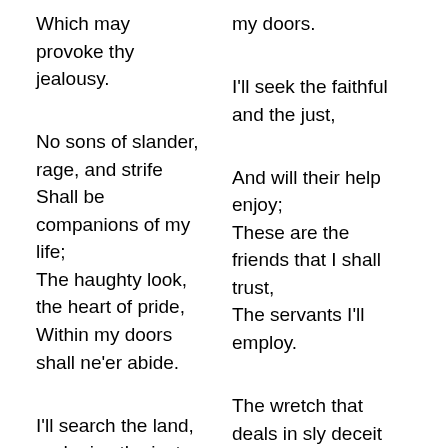Which may provoke thy jealousy.
No sons of slander, rage, and strife Shall be companions of my life; The haughty look, the heart of pride, Within my doors shall ne'er abide.
I'll search the land, and raise the just To posts of honor, wealth, and trust;
my doors. I'll seek the faithful and the just, And will their help enjoy; These are the friends that I shall trust, The servants I'll employ.
The wretch that deals in sly deceit I'll not endure a night: The liar's tongue I ever hate,